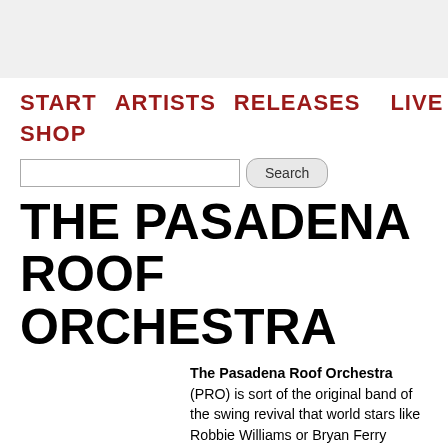START  ARTISTS  RELEASES  LIVE  SHOP
THE PASADENA ROOF ORCHESTRA
The Pasadena Roof Orchestra (PRO) is sort of the original band of the swing revival that world stars like Robbie Williams or Bryan Ferry referred to and relied on. A Swing orchestra as the perfect entertainment and dance engine! Perfect 20's feeling presented technically brilliant, upsetting and with an incomparably classy musical